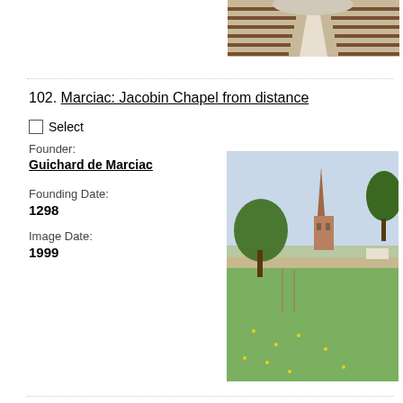[Figure (photo): Interior of a chapel showing wooden pews along a central aisle, viewed from the back toward the altar.]
102. Marciac: Jacobin Chapel from distance
Select
Founder:
Guichard de Marciac
Founding Date:
1298
Image Date:
1999
[Figure (photo): Exterior view of the Jacobin Chapel in Marciac from a distance, showing a tall church spire rising above trees, with a green meadow in the foreground.]